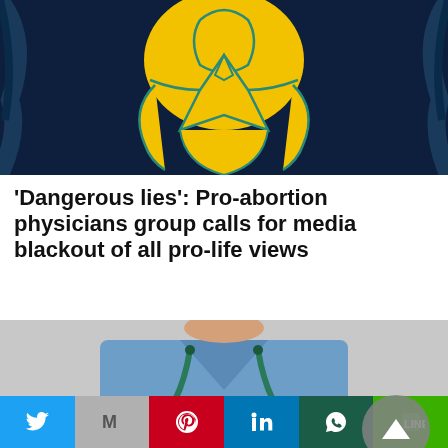[Figure (illustration): Illustrated figure of a person in yellow with teal/green outline details against a dark blue background]
‘Dangerous lies’: Pro-abortion physicians group calls for media blackout of all pro-life views
[Figure (photo): Photo of a medical professional in blue scrubs with arms crossed and a stethoscope around neck]
Share bar with Twitter, Gmail, Pinterest, LinkedIn, WhatsApp, and LINE buttons